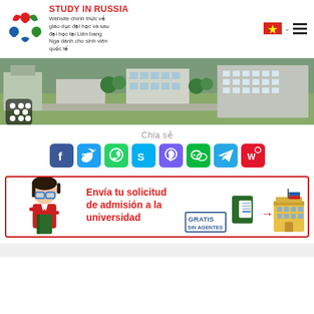STUDY IN RUSSIA — Website chính thức về giáo dục đại học và sau đại học tại Liên bang Nga dành cho sinh viên quốc tế
[Figure (photo): Aerial view of a university campus with buildings and green areas; social network icon overlay in bottom-left corner]
Chia sẻ
[Figure (infographic): Row of 8 social media share buttons: Facebook, Twitter, WhatsApp, Skype, Viber, WeChat, Telegram, Weibo]
[Figure (illustration): Advertisement banner: cartoon student with glasses holding a book, text 'Envía tu solicitud de admisión a la universidad GRATIS SIN AGENTES', passport and university building illustrations, Russian flag icon]